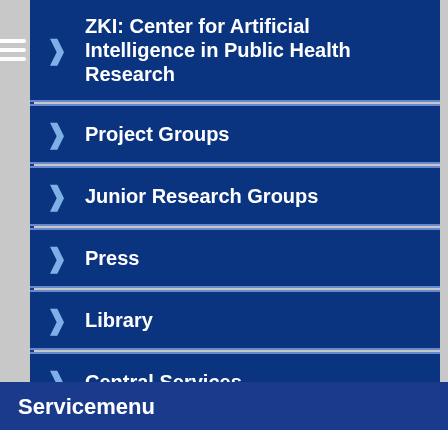ZKI: Center for Artificial Intelligence in Public Health Research
Project Groups
Junior Research Groups
Press
Library
Central Services
Management Staff
Research Coordination
Servicemenu